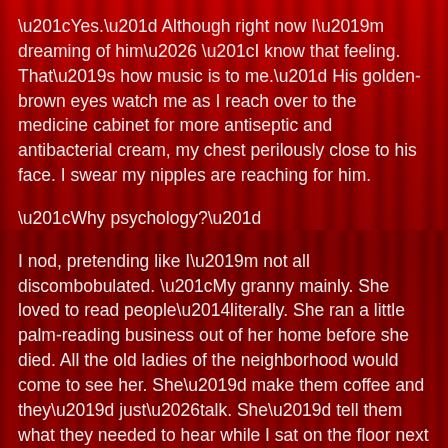“Yes.” Although right now I’m dreaming of him… “I know that feeling. That’s how music is to me.” His golden-brown eyes watch me as I reach over to the medicine cabinet for more antiseptic and antibacterial cream, my chest perilously close to his face. I swear my nipples are reaching for him.
“Why psychology?”
I nod, pretending like I’m not all discombobulated. “My granny mainly. She loved to read people—literally. She ran a little palm-reading business out of her home before she died. All the old ladies of the neighborhood would come to see her. She’d make them coffee and they’d just…talk. She’d tell them what they needed to hear while I sat on the floor next to her and listened. There wasn’t any magic involved of course.” I laugh. “But…she was incredibly intuitive. She just got people. If someone twitched or looked left or right while they were talking, she’d have a reason for it and she’d tell me all about it after they left.”
“I think I would have loved your granny.” He curls an arm around me, tugging me close until my chest is a hair’s